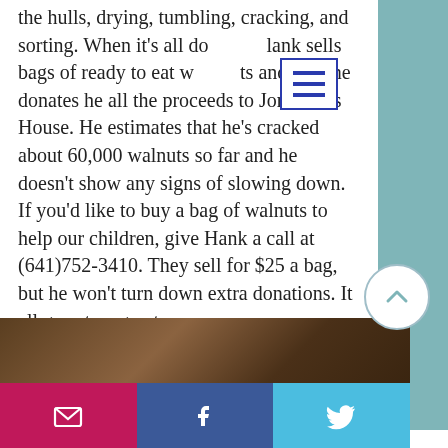the hulls, drying, tumbling, cracking, and sorting. When it's all done, Hank sells bags of ready to eat walnuts and then he donates he all the proceeds to Jonathan's House. He estimates that he's cracked about 60,000 walnuts so far and he doesn't show any signs of slowing down. If you'd like to buy a bag of walnuts to help our children, give Hank a call at (641)752-3410. They sell for $25 a bag, but he won't turn down extra donations. It all goes to a great cause.
[Figure (screenshot): Hamburger menu icon with three horizontal blue lines on white background with blue border]
[Figure (photo): Photo strip showing walnuts or natural materials in brown tones]
[Figure (infographic): Social share buttons: email (pink/magenta), Facebook (dark blue), Twitter (light blue)]